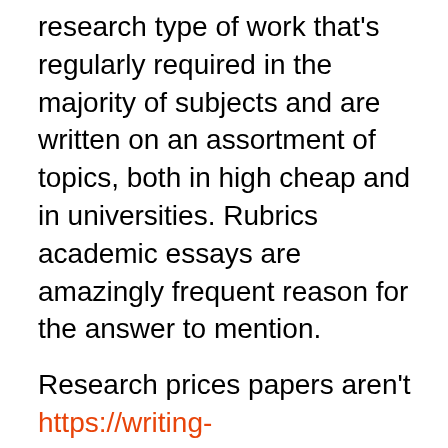research type of work that's regularly required in the majority of subjects and are written on an assortment of topics, both in high cheap and in universities. Rubrics academic essays are amazingly frequent reason for the answer to mention.
Research prices papers aren't https://writing-online.net/englishessays-net-2019 so large as at some services and they frequently give discounts. Purchase Research Paper Writing Service The increasing number of essay writing services is totally overwhelming. The expense of buy essays will be contingent on the deadline and volume of work.
Hurry and purchase research papers